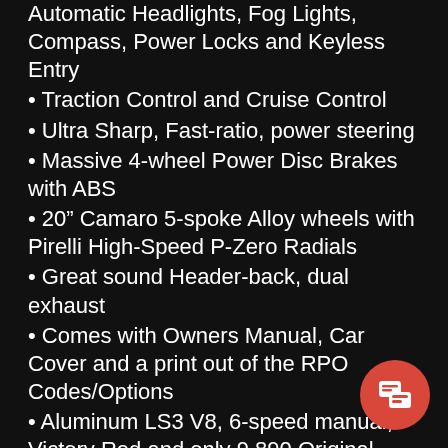Automatic Headlights, Fog Lights, Compass, Power Locks and Keyless Entry
Traction Control and Cruise Control
Ultra Sharp, Fast-ratio, power steering
Massive 4-wheel Power Disc Brakes with ABS
20” Camaro 5-spoke Alloy wheels with Pirelli High-Speed P-Zero Radials
Great sound Header-back, dual exhaust
Comes with Owners Manual, Car Cover and a print out of the RPO Codes/Options
Aluminum LS3 V8, 6-speed manual, Victory Red and only 9,890 Original miles too!
This is how you buy an Ultra-low mileage, Investment Grade, Collector Quality, ’10 Camaro SS